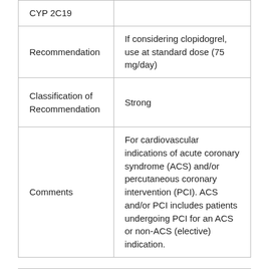| Type | Annotation |
| --- | --- |
| CYP 2C19 |  |
| Recommendation | If considering clopidogrel, use at standard dose (75 mg/day) |
| Classification of Recommendation | Strong |
| Comments | For cardiovascular indications of acute coronary syndrome (ACS) and/or percutaneous coronary intervention (PCI). ACS and/or PCI includes patients undergoing PCI for an ACS or non-ACS (elective) indication. |
| Type | Annotation |
| --- | --- |